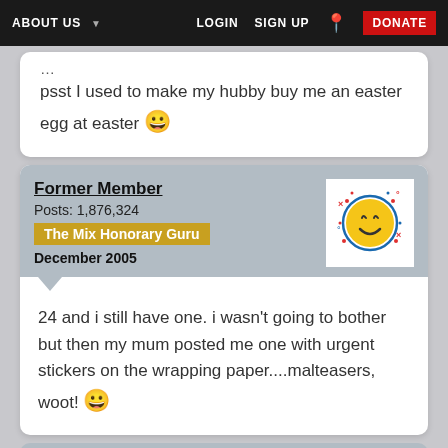ABOUT US  LOGIN  SIGN UP  DONATE
psst I used to make my hubby buy me an easter egg at easter 😀
Former Member
Posts: 1,876,324
The Mix Honorary Guru
December 2005
[Figure (illustration): Smiley face emoji icon with blue outline circle and decorative dots]
24 and i still have one. i wasn't going to bother but then my mum posted me one with urgent stickers on the wrapping paper....malteasers, woot! 😀
Former Member
Posts: 1,876,324
[Figure (illustration): Smiley face emoji icon with blue outline circle and decorative dots (partial)]